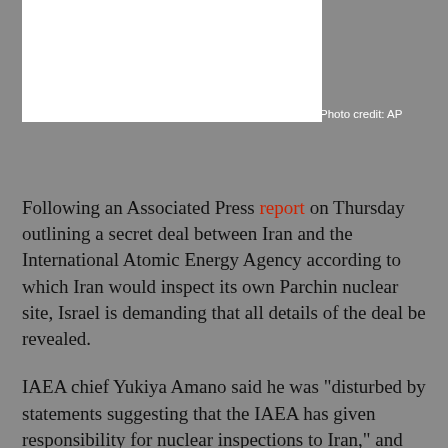[Figure (photo): Photo of a person or scene related to the Iran/IAEA story, partially cropped; white rectangle shown]
Photo credit: AP
Following an Associated Press report on Thursday outlining a secret deal between Iran and the International Atomic Energy Agency according to which Iran would inspect its own Parchin nuclear site, Israel is demanding that all details of the deal be revealed.
IAEA chief Yukiya Amano said he was "disturbed by statements suggesting that the IAEA has given responsibility for nuclear inspections to Iran," and that reports on the deal "misrepresent the way in which we will undertake this important verification work."
According to Amano, "The arrangements are technically sound and consistent with our long-established practices. They do not